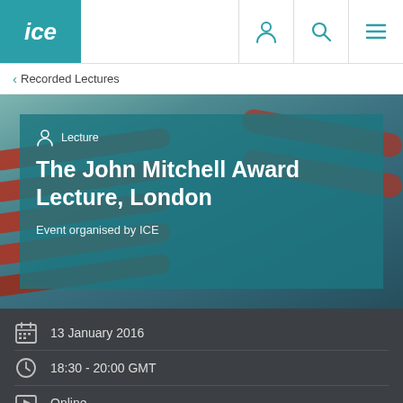ICE
< Recorded Lectures
[Figure (photo): Header banner photo showing large red industrial pipes/piles on a construction site, with a teal semi-transparent overlay panel containing lecture details. Overlay reads: Lecture / The John Mitchell Award Lecture, London / Event organised by ICE]
The John Mitchell Award Lecture, London
Event organised by ICE
13 January 2016
18:30 - 20:00 GMT
Online